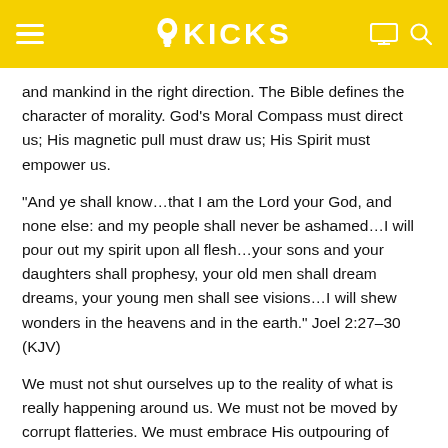KICKS
and mankind in the right direction. The Bible defines the character of morality. God’s Moral Compass must direct us; His magnetic pull must draw us; His Spirit must empower us.
“And ye shall know…that I am the Lord your God, and none else: and my people shall never be ashamed…I will pour out my spirit upon all flesh…your sons and your daughters shall prophesy, your old men shall dream dreams, your young men shall see visions…I will shew wonders in the heavens and in the earth.” Joel 2:27–30 (KJV)
We must not shut ourselves up to the reality of what is really happening around us. We must not be moved by corrupt flatteries. We must embrace His outpouring of justice, righteousness, and love. We, as the people of God; the Body of Christ, have a voice. It is time to speak. It is time to be awakened. It is time to embrace Jesus like